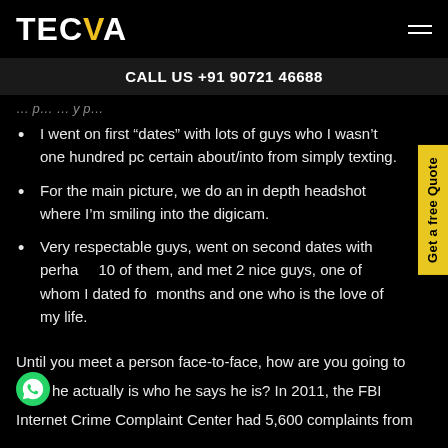TECVA
CALL US +91 90721 46688
I went on first “dates” with lots of guys who I wasn’t one hundred pc certain about/into from simply texting.
For the main picture, we do an in depth headshot where I’m smiling into the digicam.
Very respectable guys, went on second dates with perhaps 10 of them, and met 2 nice guys, one of whom I dated for months and one who is the love of my life.
Until you meet a person face-to-face, how are you going to ensure he actually is who he says he is? In 2011, the FBI Internet Crime Complaint Center had 5,600 complaints from